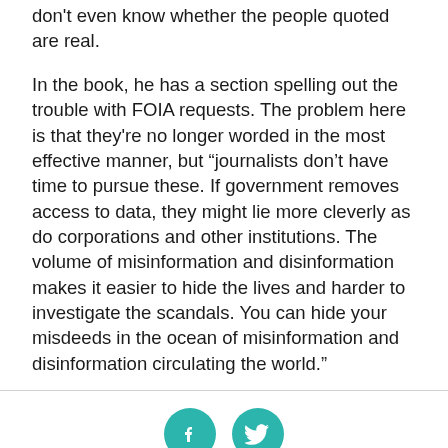don't even know whether the people quoted are real.
In the book, he has a section spelling out the trouble with FOIA requests. The problem here is that they're no longer worded in the most effective manner, but "journalists don't have time to pursue these. If government removes access to data, they might lie more cleverly as do corporations and other institutions. The volume of misinformation and disinformation makes it easier to hide the lives and harder to investigate the scandals. You can hide your misdeeds in the ocean of misinformation and disinformation circulating the world."
[Figure (other): Two circular social media share buttons: Facebook (f) and Twitter (bird icon), both in teal color]